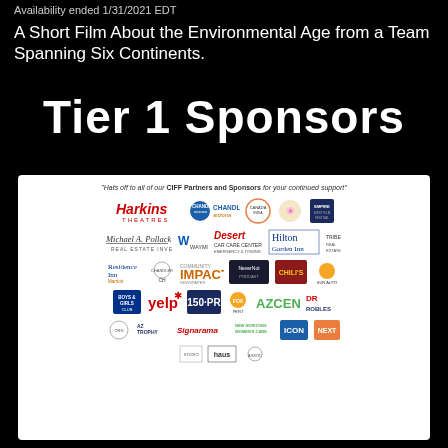Availability ended 1/31/2021 EDT
A Short Film About the Environmental Age from a Team Spanning Six Continents.
Tier 1 Sponsors
[Figure (infographic): Tier 1 Sponsors logo panel with quote and sponsor logos including Harkins Theatres, Chandler Arizona, Michael A. Pollack Real Estate Investments, Waymo, Desert Car Care Center, Hilton Garden Inn, Residence Inn Marriott, IMPACT, NeverNot, Yelp, 150 PR, AZCEND, Boys & Girls Club, Signerama, and others]